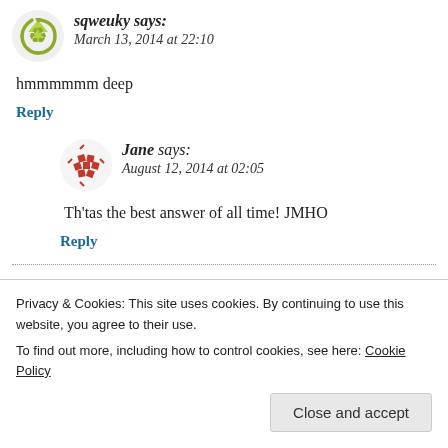sqweuky says: March 13, 2014 at 22:10
hmmmmmm deep
Reply
Jane says: August 12, 2014 at 02:05
Th'tas the best answer of all time! JMHO
Reply
Privacy & Cookies: This site uses cookies. By continuing to use this website, you agree to their use.
To find out more, including how to control cookies, see here: Cookie Policy
Close and accept